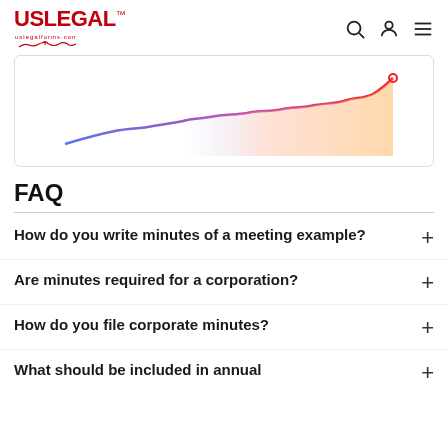USLegal - uslegalforms.com
[Figure (continuous-plot): A line chart showing an upward trending curve starting in blue on the left and transitioning to red on the right, with an area fill below that fades from orange to transparent. The line curves upward with small waves and ends with a small circle marker at the peak (top right).]
FAQ
How do you write minutes of a meeting example?
Are minutes required for a corporation?
How do you file corporate minutes?
What should be included in annual